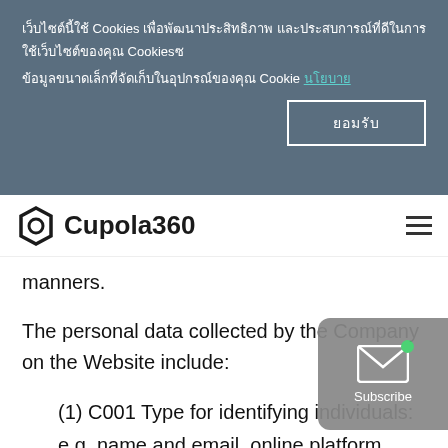เว็บไซต์นี้ใช้ Cookies เพื่อพัฒนาประสิทธิภาพ และประสบการณ์ที่ดีในการใช้เว็บไซต์ของคุณ Cookies คือ ข้อมูลขนาดเล็กที่จัดเก็บในอุปกรณ์ของคุณ Cookie นโยบาย
ยอมรับ
Cupola360
manners.
The personal data collected by the Company on the Website include:
(1) C001 Type for identifying individuals: e.g. name and email, online platform accounts, log-in password, IP addresses, Cookies, etc.